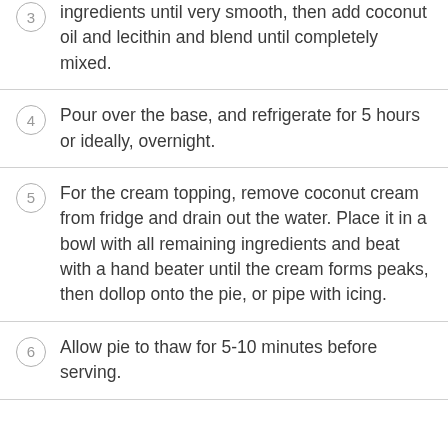For the pie, blend the first 4 filling ingredients until very smooth, then add coconut oil and lecithin and blend until completely mixed.
Pour over the base, and refrigerate for 5 hours or ideally, overnight.
For the cream topping, remove coconut cream from fridge and drain out the water. Place it in a bowl with all remaining ingredients and beat with a hand beater until the cream forms peaks, then dollop onto the pie, or pipe with icing.
Allow pie to thaw for 5-10 minutes before serving.